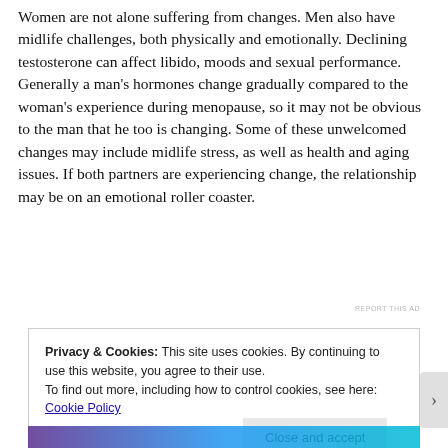Women are not alone suffering from changes. Men also have midlife challenges, both physically and emotionally. Declining testosterone can affect libido, moods and sexual performance. Generally a man's hormones change gradually compared to the woman's experience during menopause, so it may not be obvious to the man that he too is changing. Some of these unwelcomed changes may include midlife stress, as well as health and aging issues. If both partners are experiencing change, the relationship may be on an emotional roller coaster.
REPORT THIS AD
Privacy & Cookies: This site uses cookies. By continuing to use this website, you agree to their use.
To find out more, including how to control cookies, see here: Cookie Policy
Close and accept